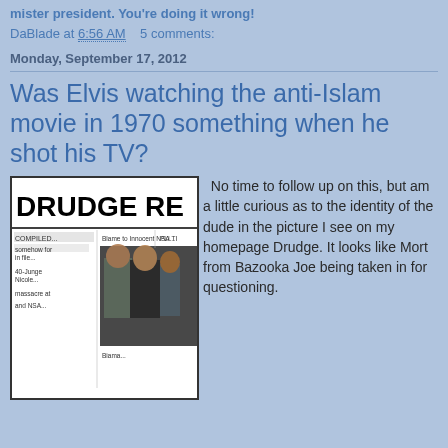mister president. You're doing it wrong!
DaBlade at 6:56 AM    5 comments:
Monday, September 17, 2012
Was Elvis watching the anti-Islam movie in 1970 something when he shot his TV?
[Figure (screenshot): Screenshot of Drudge Report website showing headline and a photo of a man being taken in by police]
No time to follow up on this, but am a little curious as to the identity of the dude in the picture I see on my homepage Drudge. It looks like Mort from Bazooka Joe being taken in for questioning.